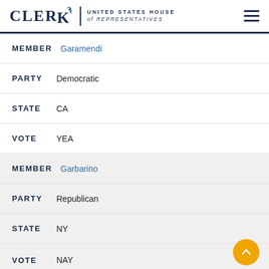CLERK United States House of Representatives
MEMBER Garamendi
PARTY Democratic
STATE CA
VOTE YEA
MEMBER Garbarino
PARTY Republican
STATE NY
VOTE NAY